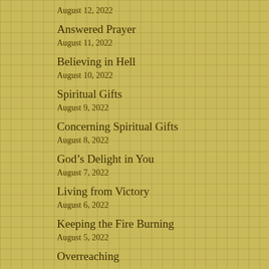August 12, 2022
Answered Prayer
August 11, 2022
Believing in Hell
August 10, 2022
Spiritual Gifts
August 9, 2022
Concerning Spiritual Gifts
August 8, 2022
God’s Delight in You
August 7, 2022
Living from Victory
August 6, 2022
Keeping the Fire Burning
August 5, 2022
Overreaching